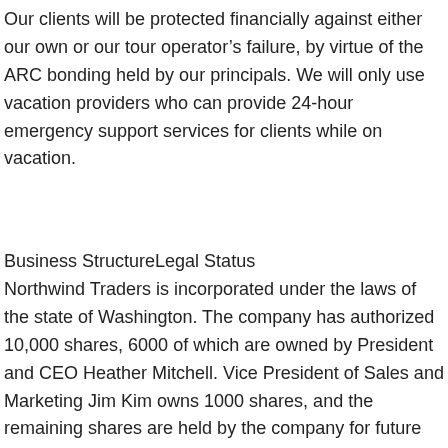Our clients will be protected financially against either our own or our tour operator's failure, by virtue of the ARC bonding held by our principals. We will only use vacation providers who can provide 24-hour emergency support services for clients while on vacation.
Business StructureLegal Status
Northwind Traders is incorporated under the laws of the state of Washington. The company has authorized 10,000 shares, 6000 of which are owned by President and CEO Heather Mitchell. Vice President of Sales and Marketing Jim Kim owns 1000 shares, and the remaining shares are held by the company for future distribution.